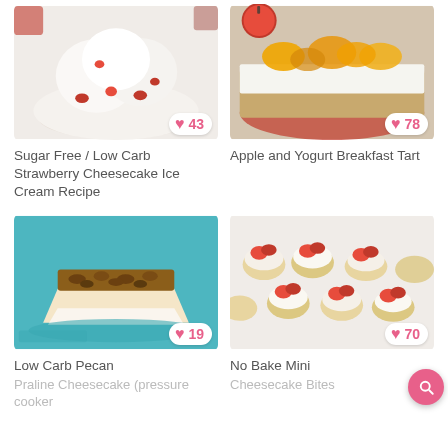[Figure (photo): Ice cream scoops with strawberries in a white bowl]
43
Sugar Free / Low Carb Strawberry Cheesecake Ice Cream Recipe
[Figure (photo): Apple and yogurt tart slice with fruit topping on a plate]
78
Apple and Yogurt Breakfast Tart
[Figure (photo): Low carb pecan praline cheesecake slice on a teal plate]
19
Low Carb Pecan
Praline Cheesecake (pressure cooker
[Figure (photo): Mini cheesecake bites topped with strawberries in pastry cups]
70
No Bake Mini
Cheesecake Bites